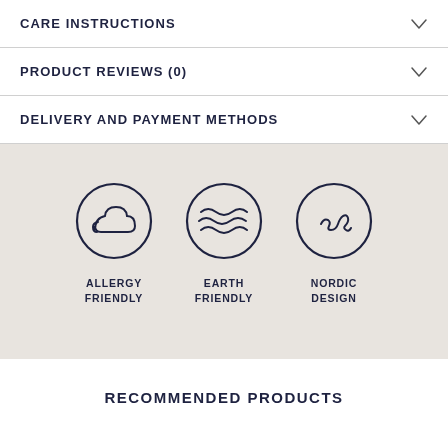CARE INSTRUCTIONS
PRODUCT REVIEWS (0)
DELIVERY AND PAYMENT METHODS
[Figure (infographic): Three circular icons on a beige/grey background. Left icon: cloud/allergy symbol with label ALLERGY FRIENDLY. Middle icon: wavy earth/landscape symbol with label EARTH FRIENDLY. Right icon: handwriting/signature symbol with label NORDIC DESIGN.]
RECOMMENDED PRODUCTS